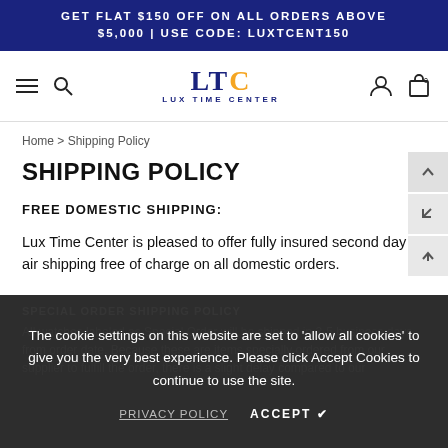GET FLAT $150 OFF ON ALL ORDERS ABOVE $5,000 | USE CODE: LUXTCENT150
[Figure (logo): LTC Lux Time Center logo with hamburger menu, search icon, user icon, and cart icon navigation bar]
Home > Shipping Policy
SHIPPING POLICY
FREE DOMESTIC SHIPPING:
Lux Time Center is pleased to offer fully insured second day air shipping free of charge on all domestic orders.
SPECIAL ORDER SHIPPING POLICY
All watches labeled as Special Order will be shipped in 2-5 business days from order date. Because these are items specially ordered from our supplier to fulfill the order, there is a slight delay compared to our
The cookie settings on this website are set to 'allow all cookies' to give you the very best experience. Please click Accept Cookies to continue to use the site.